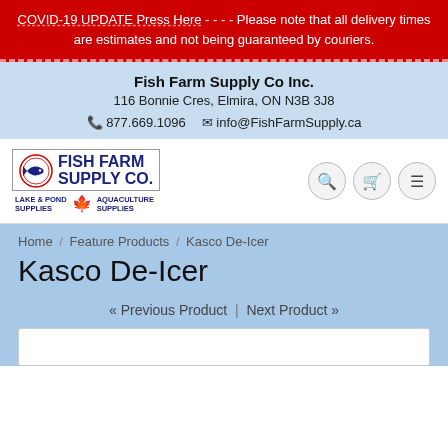COVID-19 UPDATE Press Here - - - - Please note that all delivery times are estimates and not being guaranteed by couriers.
Fish Farm Supply Co Inc.
116 Bonnie Cres, Elmira, ON N3B 3J8
877.669.1096  info@FishFarmSupply.ca
[Figure (logo): Fish Farm Supply Co. logo with fish icon, text FISH FARM SUPPLY CO., tagline LAKE & POND SUPPLIES | maple leaf | AQUACULTURE SUPPLIES]
Home / Feature Products / Kasco De-Icer
Kasco De-Icer
« Previous Product  |  Next Product »